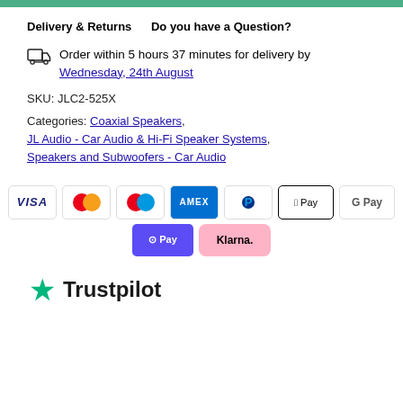Delivery & Returns    Do you have a Question?
Order within 5 hours 37 minutes for delivery by Wednesday, 24th August
SKU: JLC2-525X
Categories: Coaxial Speakers, JL Audio - Car Audio & Hi-Fi Speaker Systems, Speakers and Subwoofers - Car Audio
[Figure (other): Payment method icons: Visa, Mastercard, Maestro, Amex, PayPal, Apple Pay, Google Pay, O Pay, Klarna]
[Figure (logo): Trustpilot logo with green star]